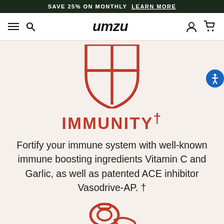SAVE 25% ON MONTHLY  LEARN MORE
umzu
[Figure (illustration): Red outlined shield icon divided into four quadrants by a cross, partially cropped at top]
IMMUNITY†
Fortify your immune system with well-known immune boosting ingredients Vitamin C and Garlic, as well as patented ACE inhibitor Vasodrive-AP. †
[Figure (illustration): Partial red outlined circular/molecular icon at bottom of page, cropped]